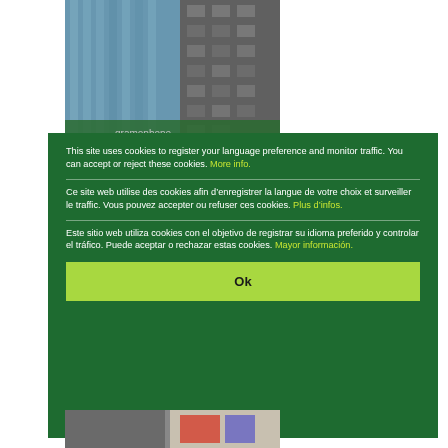[Figure (photo): Exterior photograph of a glass-facade modern office building with 'gramophone' branding partially visible at the bottom]
This site uses cookies to register your language preference and monitor traffic. You can accept or reject these cookies. More info.
Ce site web utilise des cookies afin d’enregistrer la langue de votre choix et surveiller le traffic. Vous pouvez accepter ou refuser ces cookies. Plus d’infos.
Este sitio web utiliza cookies con el objetivo de registrar su idioma preferido y controlar el tráfico. Puede aceptar o rechazar estas cookies. Mayor información.
Ok